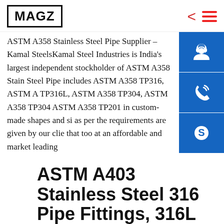MAGZ
ASTM A358 Stainless Steel Pipe Supplier - Kamal SteelsKamal Steel Industries is India's largest independent stockholder of ASTM A358 Stainless Steel Pipe includes ASTM A358 TP316, ASTM A358 TP316L, ASTM A358 TP304, ASTM A358 TP304L, ASTM A358 TP201 in custom-made shapes and sizes as per the requirements are given by our clients that too at an affordable and market leading
ASTM A403 Stainless Steel 316 Pipe Fittings, 316L SS
ASME SA403 SS 316L Pipe End Cap Exporter, SS WP316 Short Radius Elbow Stainless Steels A403...